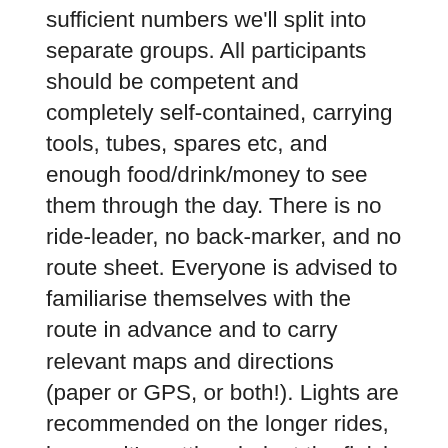sufficient numbers we'll split into separate groups. All participants should be competent and completely self-contained, carrying tools, tubes, spares etc, and enough food/drink/money to see them through the day. There is no ride-leader, no back-marker, and no route sheet. Everyone is advised to familiarise themselves with the route in advance and to carry relevant maps and directions (paper or GPS, or both!). Lights are recommended on the longer rides, in case it's getting dark at the finish.
Please note that attendance of this ride requires advanced booking for COVID track and trace purposes. Please use this simple booking form using the name you are registered with in Rider HQ. Please complete the form for each member wishing to attend.
The forms is mandatory for all rides on or around...